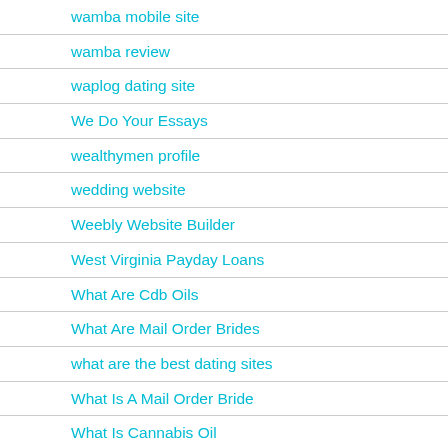wamba mobile site
wamba review
waplog dating site
We Do Your Essays
wealthymen profile
wedding website
Weebly Website Builder
West Virginia Payday Loans
What Are Cdb Oils
What Are Mail Order Brides
what are the best dating sites
What Is A Mail Order Bride
What Is Cannabis Oil